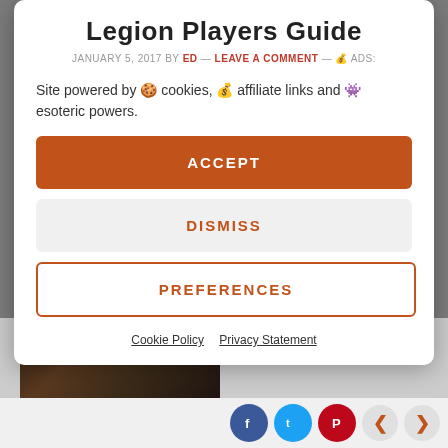Legion Players Guide
JANUARY 5, 2017 BY ED — LEAVE A COMMENT — 💰 ADS:
Site powered by 🍪 cookies, 💰 affiliate links and 👾 esoteric powers.
ACCEPT
DISMISS
PREFERENCES
Cookie Policy   Privacy Statement
[Figure (screenshot): Dark fantasy game artwork showing armored character, partially visible at bottom of page]
Social sharing buttons: Facebook, Twitter, Pinterest; navigation arrows left and right